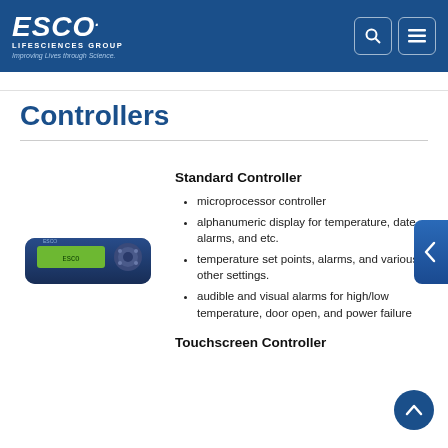ESCO Lifesciences Group — Improving Lives through Science.
Controllers
[Figure (photo): Photo of Esco Standard Controller device — a dark blue rectangular controller unit with a green alphanumeric display and circular control buttons]
Standard Controller
microprocessor controller
alphanumeric display for temperature, date, alarms, and etc.
temperature set points, alarms, and various other settings.
audible and visual alarms for high/low temperature, door open, and power failure
[Figure (photo): Photo of Esco Touchscreen Controller device — a beige/tan rectangular touchscreen controller unit]
Touchscreen Controller